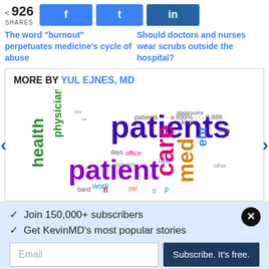926 SHARES
The word 'burnout' perpetuates medicine's cycle of abuse
Should doctors and nurses wear scrubs outside the hospital?
MORE BY YUL EJNES, MD
[Figure (other): Word cloud featuring medical terms: patients, patient, health, physician, care, med, ehr, and others in various colors]
✓  Join 150,000+ subscribers
✓  Get KevinMD's most popular stories
Email
Subscribe. It's free.